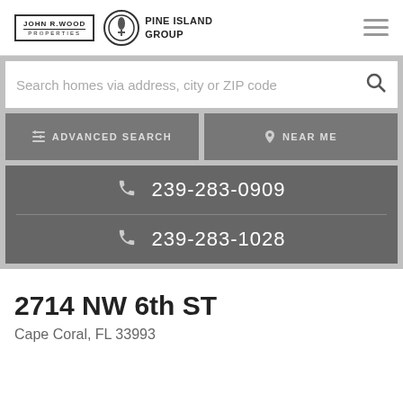[Figure (logo): John R. Wood Properties logo alongside Pine Island Group logo with hamburger menu icon]
Search homes via address, city or ZIP code
ADVANCED SEARCH
NEAR ME
239-283-0909
239-283-1028
2714 NW 6th ST
Cape Coral, FL 33993